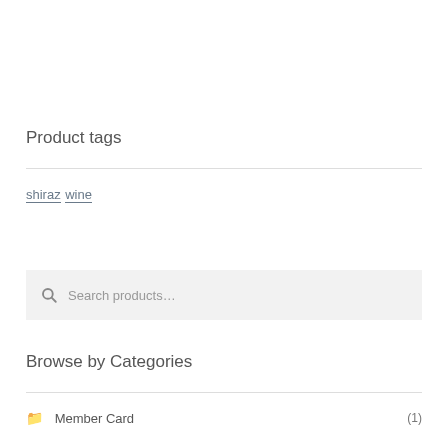Product tags
shiraz wine
Search products…
Browse by Categories
Member Card (1)